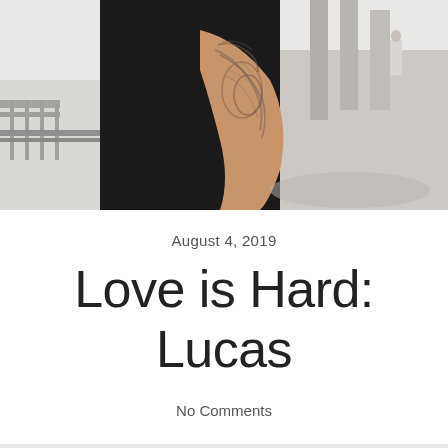[Figure (photo): Street photography photo showing a person wearing a black sleeveless top with a large tattoo on their arm, standing on an urban sidewalk with buildings and people in the background on a sunny day.]
August 4, 2019
Love is Hard: Lucas
No Comments